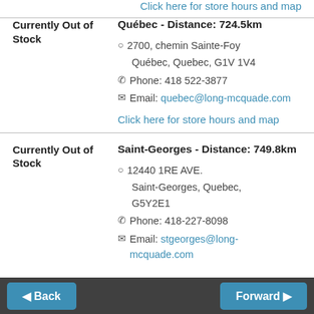Click here for store hours and map
Currently Out of Stock
Québec - Distance: 724.5km
2700, chemin Sainte-Foy
Québec, Quebec, G1V 1V4
Phone: 418 522-3877
Email: quebec@long-mcquade.com
Click here for store hours and map
Currently Out of Stock
Saint-Georges - Distance: 749.8km
12440 1RE AVE.
Saint-Georges, Quebec, G5Y2E1
Phone: 418-227-8098
Email: stgeorges@long-mcquade.com
Back | Forward